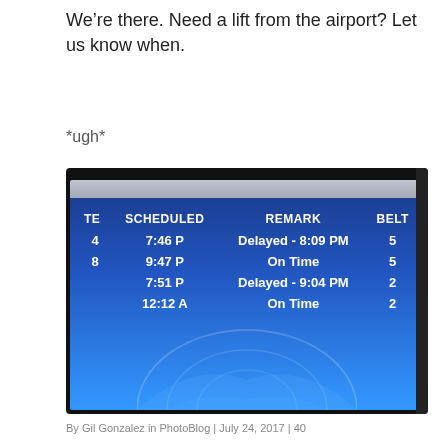We’re there. Need a lift from the airport? Let us know when.
*ugh*
[Figure (photo): Photo of an airport arrivals display board showing flight schedule with columns for Scheduled time, Remark, and Belt. Rows: 7:46 P / Delayed - 8:09 PM / 5; 9:47 P / On Time / 5; 7:51 P / Delayed - 9:04 PM / 2; 12:12 A / On Time / 2]
By Gil Gonzalez in PhotoBlog | July 24, 2017 | 40